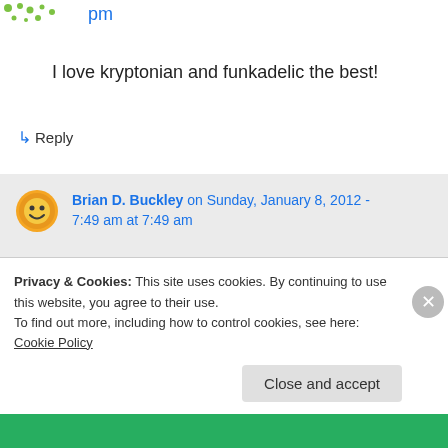pm
I love kryptonian and funkadelic the best!
↳ Reply
Brian D. Buckley on Sunday, January 8, 2012 - 7:49 am at 7:49 am
Sometimes the non-canon ones are the most fun. Lewis Carroll would be proud. 🙂
Privacy & Cookies: This site uses cookies. By continuing to use this website, you agree to their use.
To find out more, including how to control cookies, see here: Cookie Policy
Close and accept